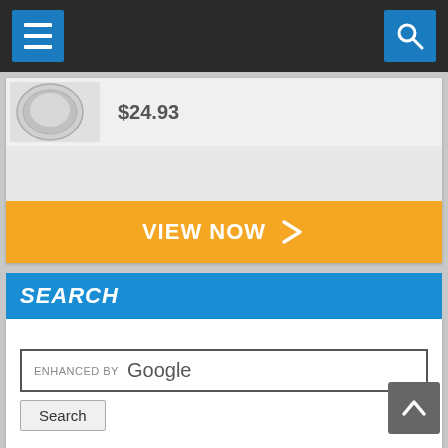Navigation bar with menu and search icons
[Figure (screenshot): Partial product card showing a coin image and price $24.93 with an orange VIEW NOW button]
SEARCH
[Figure (screenshot): Google enhanced search widget with search input box and Search button]
SHARE IT:
[Figure (screenshot): Share it widget area, empty]
[Figure (screenshot): Tab bar showing POPULA, COMME, ARCHIV tabs]